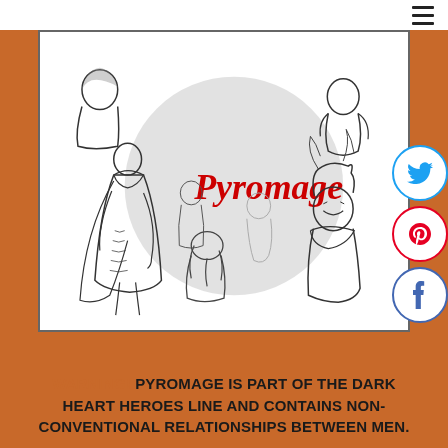☰ (menu icon)
[Figure (illustration): Manga/anime style character sketches showing multiple figures in cloaks and fantasy clothing. A large grey circle overlays the center with the text 'Pyromage' in red. Characters include a tall cloaked figure on the left, a smiling character on the right, and various sketched figures throughout. Social media buttons (Twitter, Pinterest, Facebook) on the right side.]
WARNING! PYROMAGE IS PART OF THE DARK HEART HEROES LINE AND CONTAINS NON-CONVENTIONAL RELATIONSHIPS BETWEEN MEN.